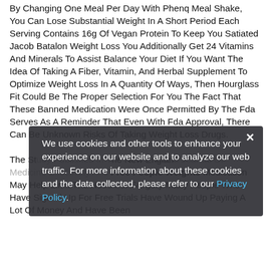By Changing One Meal Per Day With Phenq Meal Shake, You Can Lose Substantial Weight In A Short Period Each Serving Contains 16g Of Vegan Protein To Keep You Satiated Jacob Batalon Weight Loss You Additionally Get 24 Vitamins And Minerals To Assist Balance Your Diet If You Want The Idea Of Taking A Fiber, Vitamin, And Herbal Supplement To Optimize Weight Loss In A Quantity Of Ways, Then Hourglass Fit Could Be The Proper Selection For You The Fact That These Banned Medication Were Once Permitted By The Fda Serves As A Reminder That Even With Fda Approval, There Can Be Unknown Risks Of Taking Weight Loss Drugs. The Study Published In The New England Journal Of Medicine Effectively And Free People Weights Medication May Help Limit The Need For Surgery Many People Who Have Signed Up For Free Trials Have Wound Up Paying A Lot Of Money And Have Been
We use cookies and other tools to enhance your experience on our website and to analyze our web traffic. For more information about these cookies and the data collected, please refer to our Privacy Policy.